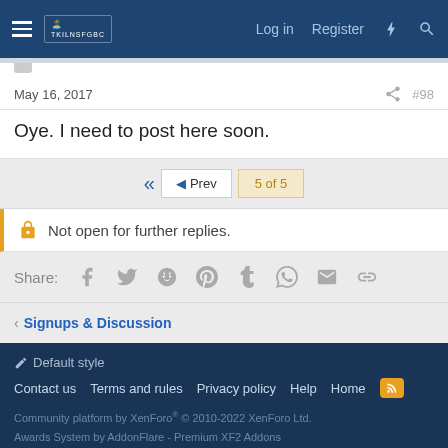Log in  Register
May 16, 2017  #98
Oye. I need to post here soon.
Prev  5 of 5
Not open for further replies.
Share:
Signups & Discussion
Default style  Contact us  Terms and rules  Privacy policy  Help  Home  Community platform by XenForo® © 2010-2022 XenForo Ltd.  Awards System by AddonFlare - Premium XF2 Addons  Xenforo Theme by © XenTR